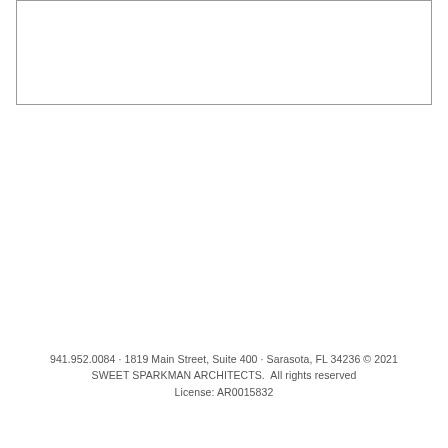[Figure (other): Empty bordered rectangle box at top of page, likely a drawing/image placeholder]
941.952.0084 · 1819 Main Street, Suite 400 · Sarasota, FL 34236 © 2021 SWEET SPARKMAN ARCHITECTS.  All rights reserved
License: AR0015832